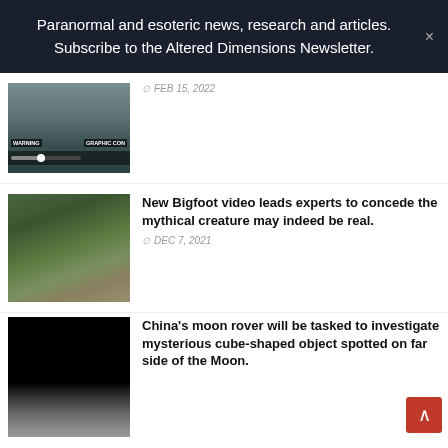Paranormal and esoteric news, research and articles. Subscribe to the Altered Dimensions Newsletter.
[Figure (screenshot): Partial thumbnail of a video with WARNING and GRAPHIC CON labels visible]
FEB 15, 2022
[Figure (photo): Forest scene with trees and dark shadows, possibly a Bigfoot sighting video still]
New Bigfoot video leads experts to concede the mythical creature may indeed be real.
DEC 7, 2021
[Figure (photo): Dark image of the moon surface]
China's moon rover will be tasked to investigate mysterious cube-shaped object spotted on far side of the Moon.